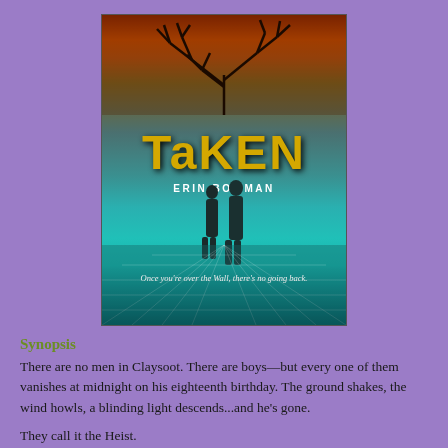[Figure (photo): Book cover for 'Taken' by Erin Bowman. Features a dramatic sky with orange and red clouds, a bare tree at the top, two silhouetted figures standing on a reflective tiled floor, tall dark structures in the background, and tagline 'Once you're over the Wall, there's no going back.']
Synopsis
There are no men in Claysoot. There are boys—but every one of them vanishes at midnight on his eighteenth birthday. The ground shakes, the wind howls, a blinding light descends...and he's gone.
They call it the Heist.
Gray Weathersby's eighteenth birthday is mere months away, and he's prepared to meet his fate–until he finds a strange note from his